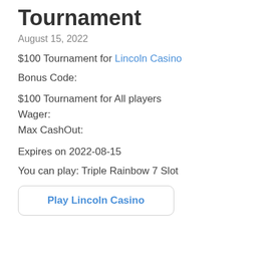Tournament
August 15, 2022
$100 Tournament for Lincoln Casino
Bonus Code:
$100 Tournament for All players
Wager:
Max CashOut:
Expires on 2022-08-15
You can play: Triple Rainbow 7 Slot
Play Lincoln Casino